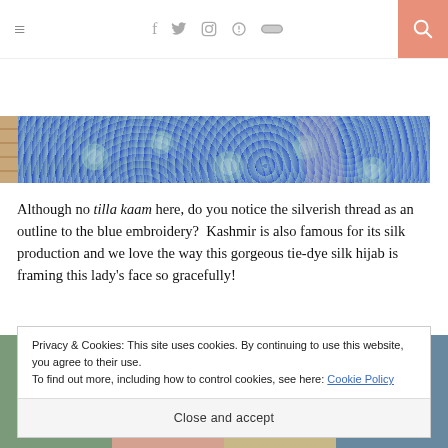≡  f  twitter  instagram  pinterest  soundcloud  [search]
[Figure (photo): Blue and white floral embroidered fabric with a tie-dye silk hijab, with brick pavement visible on the left]
Although no tilla kaam here, do you notice the silverish thread as an outline to the blue embroidery?  Kashmir is also famous for its silk production and we love the way this gorgeous tie-dye silk hijab is framing this lady's face so gracefully!
Privacy & Cookies: This site uses cookies. By continuing to use this website, you agree to their use.
To find out more, including how to control cookies, see here: Cookie Policy
Close and accept
[Figure (photo): Bottom strip showing partial images of people]